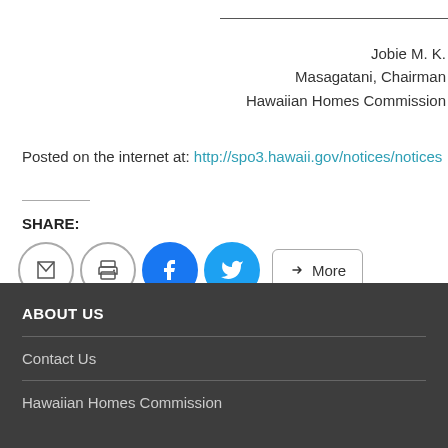Jobie M. K. Masagatani, Chairman Hawaiian Homes Commission
Posted on the internet at: http://spo3.hawaii.gov/notices/notices
SHARE:
[Figure (other): Share buttons: email, print, Facebook, Twitter, and More]
ABOUT US
Contact Us
Hawaiian Homes Commission